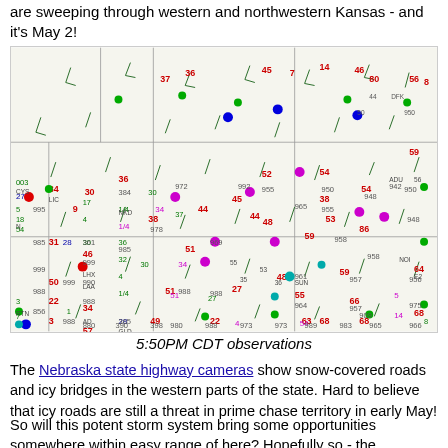are sweeping through western and northwestern Kansas - and it's May 2!
[Figure (map): Surface observation map showing weather station data across the central United States (Kansas, Nebraska, Colorado region) with temperature readings, wind barbs, pressure values, and colored dots indicating weather conditions at 5:50PM CDT]
5:50PM CDT observations
The Nebraska state highway cameras show snow-covered roads and icy bridges in the western parts of the state. Hard to believe that icy roads are still a threat in prime chase territory in early May!
So will this potent storm system bring some opportunities somewhere within easy range of here? Hopefully so - the NAM/WRF and RUC model forecasts show a healthy and